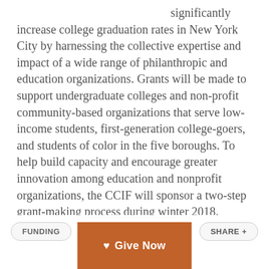significantly increase college graduation rates in New York City by harnessing the collective expertise and impact of a wide range of philanthropic and education organizations. Grants will be made to support undergraduate colleges and non-profit community-based organizations that serve low-income students, first-generation college-goers, and students of color in the five boroughs. To help build capacity and encourage greater innovation among education and nonprofit organizations, the CCIF will sponsor a two-step grant-making process during winter 2018. Participate in an informational webinar on January 8 or January 18 to learn more. Applications for first step in the process are due February 2, 2018.
FUNDING
ISSU[E]
Give Now
SHARE +